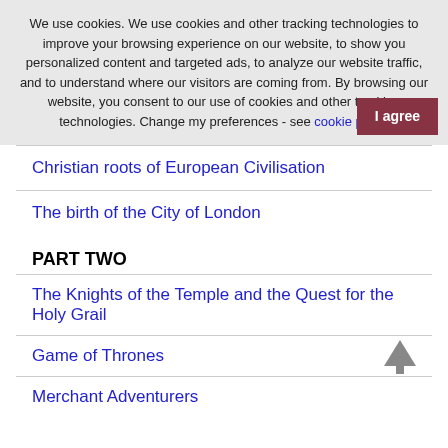We use cookies. We use cookies and other tracking technologies to improve your browsing experience on our website, to show you personalized content and targeted ads, to analyze our website traffic, and to understand where our visitors are coming from. By browsing our website, you consent to our use of cookies and other tracking technologies. Change my preferences - see cookie policy  I agree
Christian roots of European Civilisation
The birth of the City of London
PART TWO
The Knights of the Temple and the Quest for the Holy Grail
Game of Thrones
Merchant Adventurers